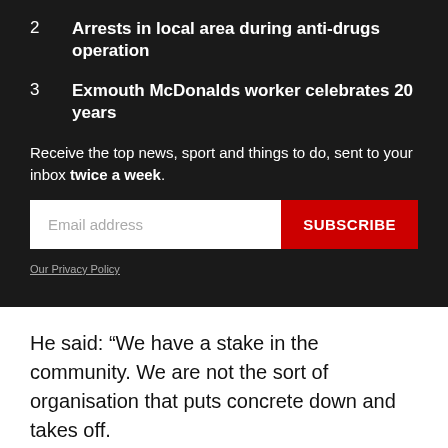2   Arrests in local area during anti-drugs operation
3   Exmouth McDonalds worker celebrates 20 years
Receive the top news, sport and things to do, sent to your inbox twice a week.
Our Privacy Policy
He said: “We have a stake in the community. We are not the sort of organisation that puts concrete down and takes off.
“Whatever happens, we will wish to engage with people in a full consultation